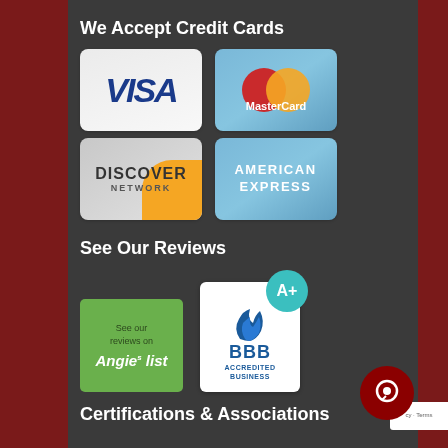We Accept Credit Cards
[Figure (logo): Four credit card logos in a 2x2 grid: Visa, MasterCard, Discover Network, American Express]
See Our Reviews
[Figure (logo): Two review/accreditation badges: Angie's List (green badge) and BBB Accredited Business A+ (white and teal badge)]
Certifications & Associations